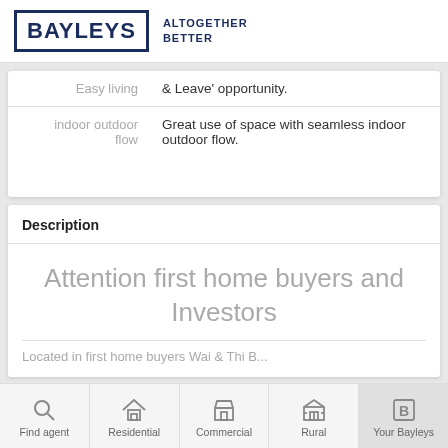BAYLEYS ALTOGETHER BETTER
| Feature | Description |
| --- | --- |
| Easy living | & Leave' opportunity. |
| indoor outdoor flow | Great use of space with seamless indoor outdoor flow. |
Description
Attention first home buyers and Investors
Located in first home buyers Wai & Thi B...